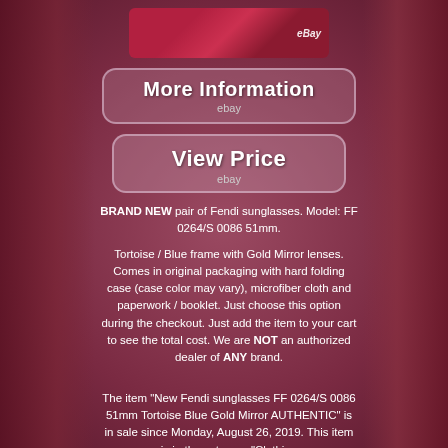[Figure (photo): Product image of Fendi sunglasses with eBay watermark]
[Figure (screenshot): More Information button with eBay branding]
[Figure (screenshot): View Price button with eBay branding]
BRAND NEW pair of Fendi sunglasses. Model: FF 0264/S 0086 51mm.
Tortoise / Blue frame with Gold Mirror lenses. Comes in original packaging with hard folding case (case color may vary), microfiber cloth and paperwork / booklet. Just choose this option during the checkout. Just add the item to your cart to see the total cost. We are NOT an authorized dealer of ANY brand.
The item "New Fendi sunglasses FF 0264/S 0086 51mm Tortoise Blue Gold Mirror AUTHENTIC" is in sale since Monday, August 26, 2019. This item is in the category "Clothing